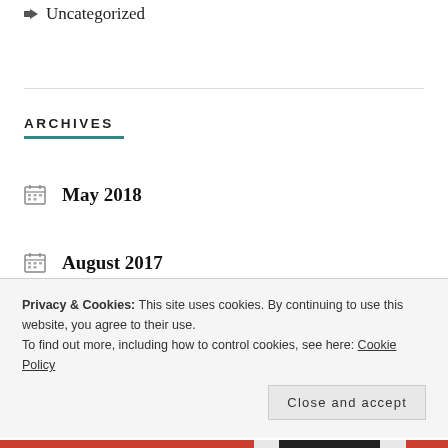Uncategorized
ARCHIVES
May 2018
August 2017
November 2016
Privacy & Cookies: This site uses cookies. By continuing to use this website, you agree to their use.
To find out more, including how to control cookies, see here: Cookie Policy
Close and accept